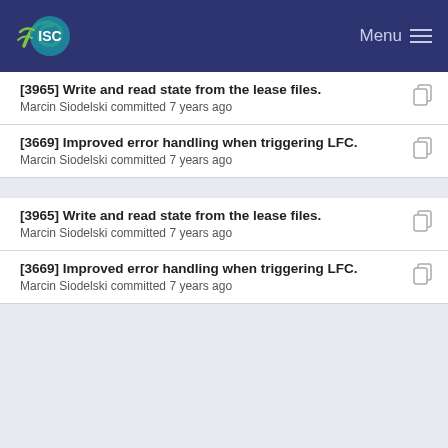ISC Menu
[3965] Write and read state from the lease files.
Marcin Siodelski committed 7 years ago
[3669] Improved error handling when triggering LFC.
Marcin Siodelski committed 7 years ago
[3965] Write and read state from the lease files.
Marcin Siodelski committed 7 years ago
[3669] Improved error handling when triggering LFC.
Marcin Siodelski committed 7 years ago
[3961_rebase] Changes after review:
Tomek Mrugalski committed 7 years ago